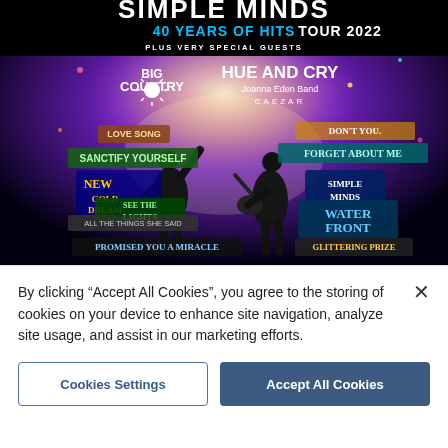[Figure (photo): Concert promotional poster for Simple Minds 40 Years of Hits Tour 2022, featuring silhouettes of two performers on stage with colorful banners showing song titles (Love Song, Sanctify Yourself, Don't You Forget About Me, New Gold Dream, See The Lights, All The Things She Said, Promised You A Miracle, Water Front, Glittering Prize, Simple Minds). Special guests include Big Country, Hue and Cry, Joanna Eden Band, Caezar.]
By clicking "Accept All Cookies", you agree to the storing of cookies on your device to enhance site navigation, analyze site usage, and assist in our marketing efforts.